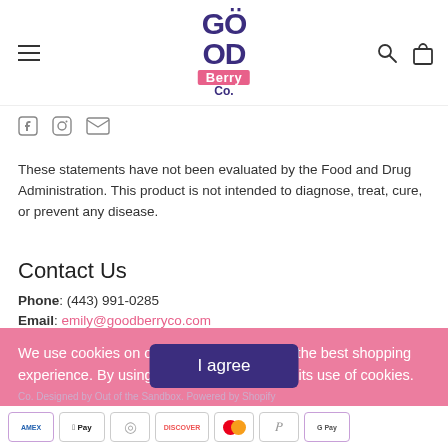GÖ OD Berry Co. — navigation header with hamburger menu, search and bag icons
[Figure (logo): Good Berry Co. logo — GÖOD in dark purple, Berry in white on pink background, Co. in dark purple]
Social media icons (Facebook, Instagram, Email)
These statements have not been evaluated by the Food and Drug Administration. This product is not intended to diagnose, treat, cure, or prevent any disease.
Contact Us
Phone: (443) 991-0285
Email: emily@goodberryco.com
We use cookies on our website to give you the best shopping experience. By using this site, you agree to its use of cookies.
Co. Designed by Out of the Sandbox. Powered by Shopify
[Figure (other): Payment method icons: Amex, Apple Pay, Diners, Discover, Mastercard, PayPal, Google Pay]